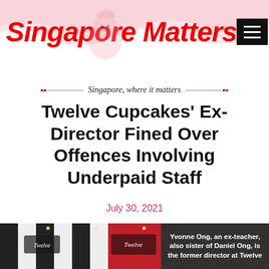Singapore Matters — Singapore, where it matters
Twelve Cupcakes' Ex-Director Fined Over Offences Involving Underpaid Staff
July 30, 2021
[Figure (photo): Photo of Twelve Cupcakes store front with black and white striped facade and red signage. Overlay text: Yvonne Ong, an ex-teacher, also sister of Daniel Ong, is the former director at Twelve]